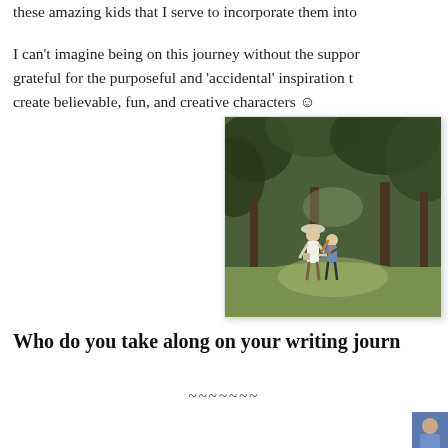these amazing kids that I serve to incorporate them into
I can't imagine being on this journey without the support, grateful for the purposeful and 'accidental' inspiration that create believable, fun, and creative characters 😊
[Figure (photo): Two females, one taller and one shorter (likely a woman and a young girl), walking hand in hand away from the camera through a tree-lined park with green grass. The taller figure wears a white dress and hat, the shorter wears jeans.]
Who do you take along on your writing journ
~~~~~~~